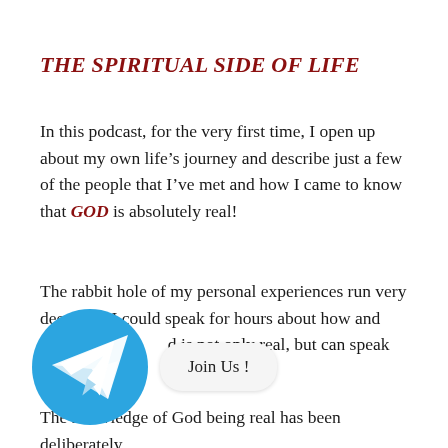THE SPIRITUAL SIDE OF LIFE
In this podcast, for the very first time, I open up about my own life’s journey and describe just a few of the people that I’ve met and how I came to know that GOD is absolutely real!
The rabbit hole of my personal experiences run very deep, and I could speak for hours about how and why I know God is not only real, but can speak directly to [text partially obscured by overlay]
[Figure (logo): Telegram messenger logo (blue circle with white paper plane icon) with 'Join Us!' button overlay]
The knowledge of God being real has been deliberately [continues below]